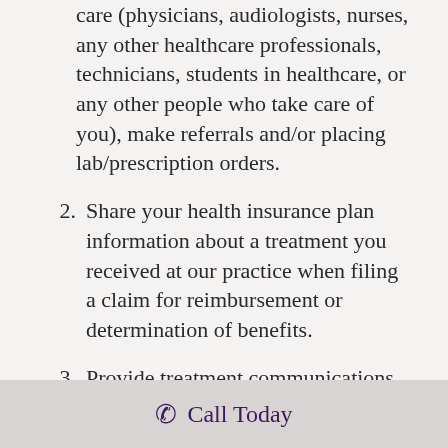care (physicians, audiologists, nurses, any other healthcare professionals, technicians, students in healthcare, or any other people who take care of you), make referrals and/or placing lab/prescription orders.
2. Share your health insurance plan information about a treatment you received at our practice when filing a claim for reimbursement or determination of benefits.
3. Provide treatment communications concerning treatment alternatives or other health-related products
Call Today